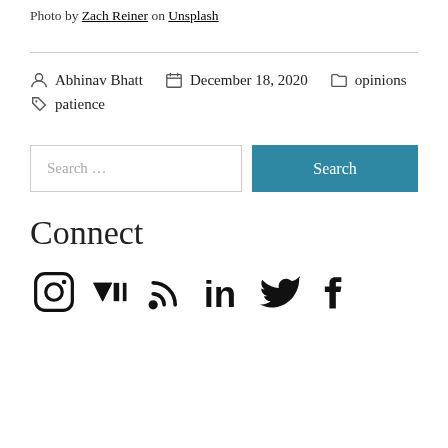Photo by Zach Reiner on Unsplash
Abhinav Bhatt   December 18, 2020   opinions   patience
Search …
Connect
[Figure (infographic): Row of social media icons: Instagram, Medium, RSS, LinkedIn, Twitter, Facebook]